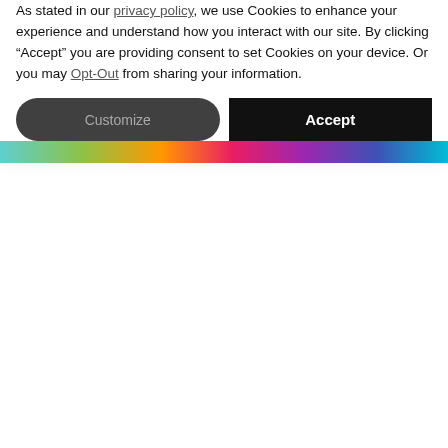Adult FDA Listed Masks - KN95 Protection // Subscribe & Get Free Shipping
[Figure (screenshot): VIDA website navigation bar with hamburger menu, VIDA logo, heart icon, search icon, shipping tracker icon, and shopping bag icon with 0 badge]
Home /
WOOD WALL ART - 30X20
$150.00 USD
DESIGNED FOR VIDA
Notice
As stated in our privacy policy, we use Cookies to enhance your experience and understand how you interact with our site. By clicking “Accept” you are providing consent to set Cookies on your device. Or you may Opt-Out from sharing your information.
Customize
Accept